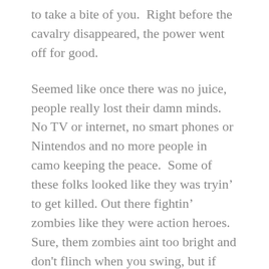to take a bite of you.  Right before the cavalry disappeared, the power went off for good.
Seemed like once there was no juice, people really lost their damn minds. No TV or internet, no smart phones or Nintendos and no more people in camo keeping the peace.  Some of these folks looked like they was tryin' to get killed. Out there fightin' zombies like they were action heroes.  Sure, them zombies aint too bright and don't flinch when you swing, but if there's enough of them, you're gonna feed em eventually.
I was in a neighborhood looking for food when I seen two of these Schwarzenegger wannabees out in the street taking on too many zombies for their own good.  They didn't have no business being out there,